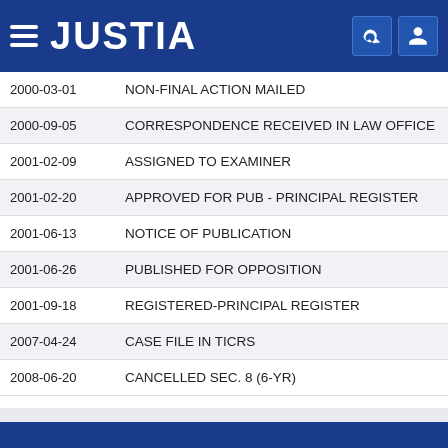JUSTIA
| Date | Event |
| --- | --- |
| 2000-03-01 | NON-FINAL ACTION MAILED |
| 2000-09-05 | CORRESPONDENCE RECEIVED IN LAW OFFICE |
| 2001-02-09 | ASSIGNED TO EXAMINER |
| 2001-02-20 | APPROVED FOR PUB - PRINCIPAL REGISTER |
| 2001-06-13 | NOTICE OF PUBLICATION |
| 2001-06-26 | PUBLISHED FOR OPPOSITION |
| 2001-09-18 | REGISTERED-PRINCIPAL REGISTER |
| 2007-04-24 | CASE FILE IN TICRS |
| 2008-06-20 | CANCELLED SEC. 8 (6-YR) |